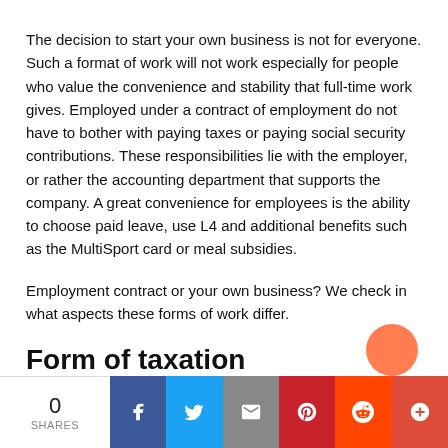The decision to start your own business is not for everyone. Such a format of work will not work especially for people who value the convenience and stability that full-time work gives. Employed under a contract of employment do not have to bother with paying taxes or paying social security contributions. These responsibilities lie with the employer, or rather the accounting department that supports the company. A great convenience for employees is the ability to choose paid leave, use L4 and additional benefits such as the MultiSport card or meal subsidies.
Employment contract or your own business? We check in what aspects these forms of work differ.
Form of taxation
Full time
0 SHARES  [Facebook] [Twitter] [Email] [Pinterest] [Reddit] [+]